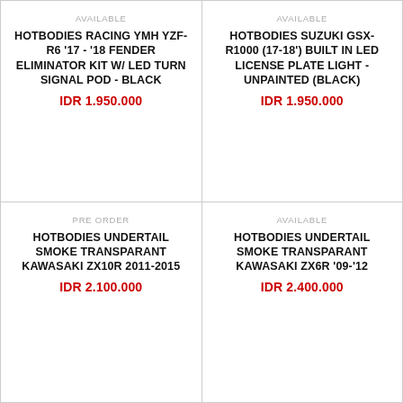AVAILABLE
HOTBODIES RACING YMH YZF-R6 '17 - '18 FENDER ELIMINATOR KIT W/ LED TURN SIGNAL POD - BLACK
IDR 1.950.000
AVAILABLE
HOTBODIES SUZUKI GSX-R1000 (17-18') BUILT IN LED LICENSE PLATE LIGHT - UNPAINTED (BLACK)
IDR 1.950.000
PRE ORDER
HOTBODIES UNDERTAIL SMOKE TRANSPARANT KAWASAKI ZX10R 2011-2015
IDR 2.100.000
AVAILABLE
HOTBODIES UNDERTAIL SMOKE TRANSPARANT KAWASAKI ZX6R '09-'12
IDR 2.400.000